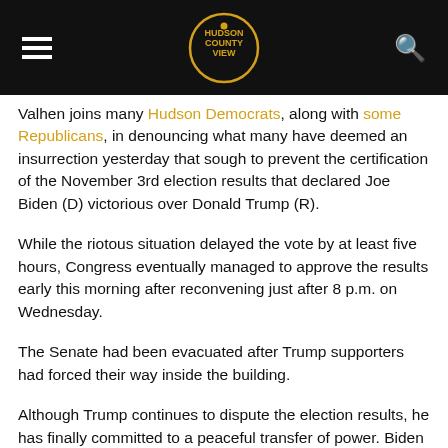Hudson County View
Valhen joins many Hudson Democrats, along with some Republicans, in denouncing what many have deemed an insurrection yesterday that sough to prevent the certification of the November 3rd election results that declared Joe Biden (D) victorious over Donald Trump (R).
While the riotous situation delayed the vote by at least five hours, Congress eventually managed to approve the results early this morning after reconvening just after 8 p.m. on Wednesday.
The Senate had been evacuated after Trump supporters had forced their way inside the building.
Although Trump continues to dispute the election results, he has finally committed to a peaceful transfer of power. Biden is set to